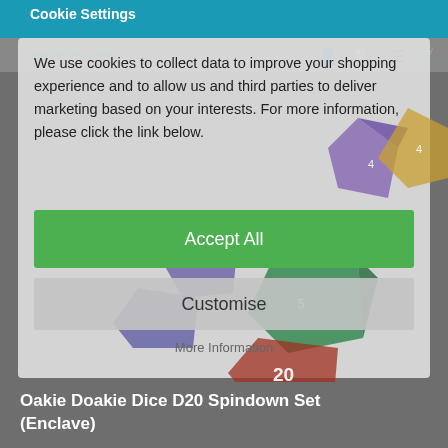Cookie Settings
We use cookies to collect data to improve your shopping experience and to allow us and third parties to deliver marketing based on your interests. For more information, please click the link below.
Accept All
Customise
More Information
Oakie Doakie Dice D20 Spindown Set (Enclave)